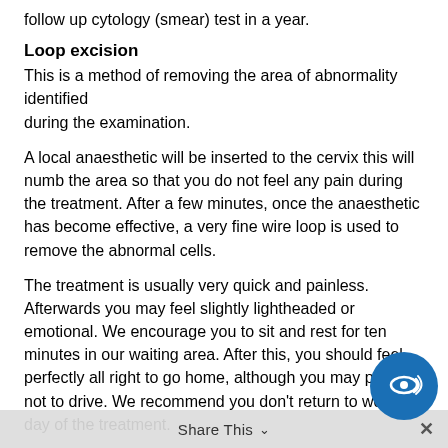follow up cytology (smear) test in a year.
Loop excision
This is a method of removing the area of abnormality identified during the examination.
A local anaesthetic will be inserted to the cervix this will numb the area so that you do not feel any pain during the treatment. After a few minutes, once the anaesthetic has become effective, a very fine wire loop is used to remove the abnormal cells.
The treatment is usually very quick and painless. Afterwards you may feel slightly lightheaded or emotional. We encourage you to sit and rest for ten minutes in our waiting area. After this, you should feel perfectly all right to go home, although you may prefer not to drive. We recommend you don't return to work the day of the treatment.
Share This